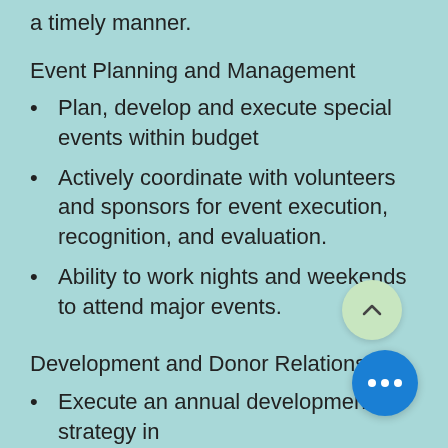a timely manner.
Event Planning and Management
Plan, develop and execute special events within budget
Actively coordinate with volunteers and sponsors for event execution, recognition, and evaluation.
Ability to work nights and weekends to attend major events.
Development and Donor Relations
Execute an annual development strategy in collaboration with the Executive Director (ED) and program staff to meet fundraising goals to include individual donor, major gifts